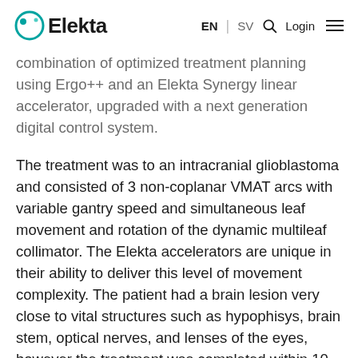Elekta | EN | SV | Login
combination of optimized treatment planning using Ergo++ and an Elekta Synergy linear accelerator, upgraded with a next generation digital control system.
The treatment was to an intracranial glioblastoma and consisted of 3 non-coplanar VMAT arcs with variable gantry speed and simultaneous leaf movement and rotation of the dynamic multileaf collimator. The Elekta accelerators are unique in their ability to deliver this level of movement complexity. The patient had a brain lesion very close to vital structures such as hypophisys, brain stem, optical nerves, and lenses of the eyes, however the treatment was completed within 10 minutes